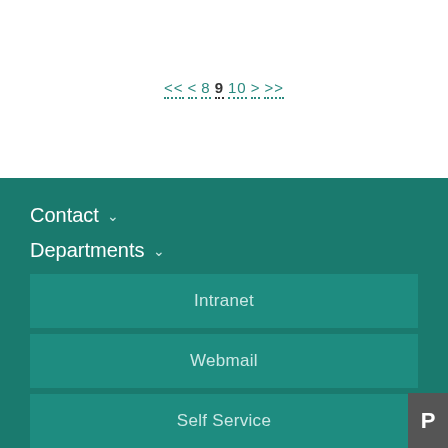<< < 8 9 10 > >>
Contact
Departments
Intranet
Webmail
Self Service
Max Planck Society